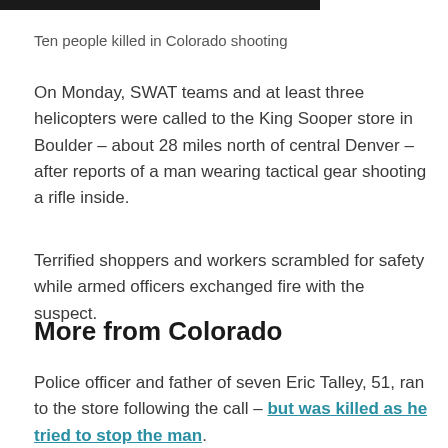[Figure (other): Black bar at top of page, partial image crop indicator]
Ten people killed in Colorado shooting
On Monday, SWAT teams and at least three helicopters were called to the King Sooper store in Boulder – about 28 miles north of central Denver – after reports of a man wearing tactical gear shooting a rifle inside.
Terrified shoppers and workers scrambled for safety while armed officers exchanged fire with the suspect.
More from Colorado
Police officer and father of seven Eric Talley, 51, ran to the store following the call – but was killed as he tried to stop the man.